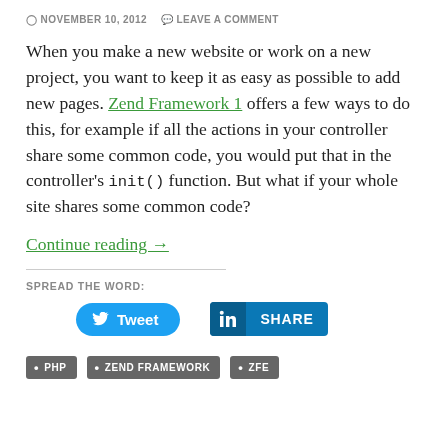NOVEMBER 10, 2012   LEAVE A COMMENT
When you make a new website or work on a new project, you want to keep it as easy as possible to add new pages. Zend Framework 1 offers a few ways to do this, for example if all the actions in your controller share some common code, you would put that in the controller's init() function. But what if your whole site shares some common code?
Continue reading →
SPREAD THE WORD:
[Figure (other): Social sharing buttons: Tweet (Twitter) and Share (LinkedIn)]
• PHP  • ZEND FRAMEWORK  • ZFE